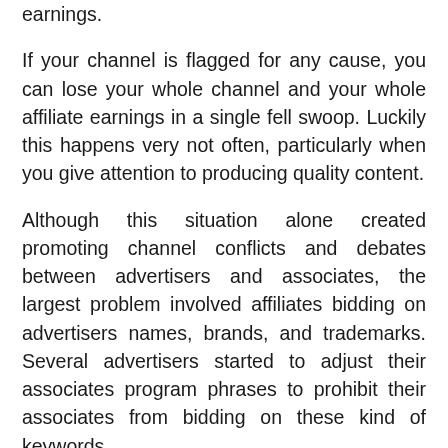earnings.
If your channel is flagged for any cause, you can lose your whole channel and your whole affiliate earnings in a single fell swoop. Luckily this happens very not often, particularly when you give attention to producing quality content.
Although this situation alone created promoting channel conflicts and debates between advertisers and associates, the largest problem involved affiliates bidding on advertisers names, brands, and trademarks. Several advertisers started to adjust their associates program phrases to prohibit their associates from bidding on these kind of keywords.